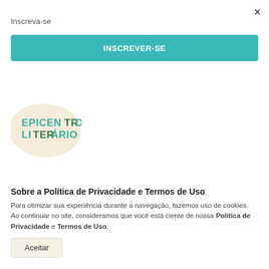×
Inscreva-se
INSCREVER-SE
[Figure (logo): Epicentro Literário logo: stylized lettering on a cream-colored blob/oval background]
Sobre a Política de Privacidade e Termos de Uso
Para otimizar sua experiência durante a navegação, fazemos uso de cookies. Ao continuar no site, consideramos que você está ciente de nossa Política de Privacidade e Termos de Uso.
Aceitar